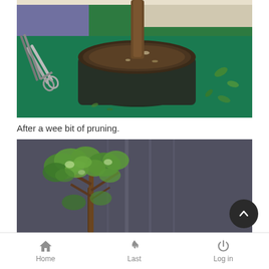[Figure (photo): A bonsai tree in a round dark green/black pot viewed from above, sitting on a green tray. Pruning scissors/shears are visible on the left side. Fallen leaves are scattered around.]
After a wee bit of pruning.
[Figure (photo): A bonsai tree with green leaves against a gray/dark background, showing the tree after pruning with visible branching structure.]
Home  Last  Log in